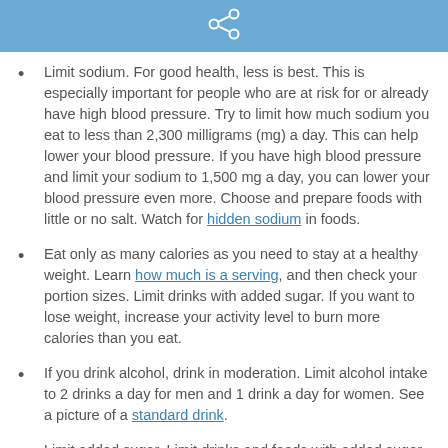Limit sodium. For good health, less is best. This is especially important for people who are at risk for or already have high blood pressure. Try to limit how much sodium you eat to less than 2,300 milligrams (mg) a day. This can help lower your blood pressure. If you have high blood pressure and limit your sodium to 1,500 mg a day, you can lower your blood pressure even more. Choose and prepare foods with little or no salt. Watch for hidden sodium in foods.
Eat only as many calories as you need to stay at a healthy weight. Learn how much is a serving, and then check your portion sizes. Limit drinks with added sugar. If you want to lose weight, increase your activity level to burn more calories than you eat.
If you drink alcohol, drink in moderation. Limit alcohol intake to 2 drinks a day for men and 1 drink a day for women. See a picture of a standard drink.
Limit added sugar. Limit drinks and foods with added sugar.
When you are eating away from home, try to follow